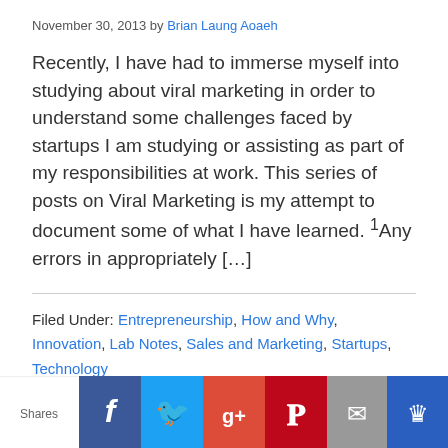November 30, 2013 by Brian Laung Aoaeh
Recently, I have had to immerse myself into studying about viral marketing in order to understand some challenges faced by startups I am studying or assisting as part of my responsibilities at work. This series of posts on Viral Marketing is my attempt to document some of what I have learned. 1Any errors in appropriately [...]
Filed Under: Entrepreneurship, How and Why, Innovation, Lab Notes, Sales and Marketing, Startups, Technology
Tagged With: Early Stage, Startups, by Brian Laung Aoaeh
[Figure (infographic): Social share bar with Facebook, Twitter, Google+, Pinterest, Email, and bookmark buttons showing Shares count]